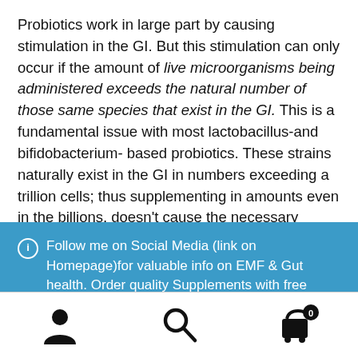Probiotics work in large part by causing stimulation in the GI. But this stimulation can only occur if the amount of live microorganisms being administered exceeds the natural number of those same species that exist in the GI. This is a fundamental issue with most lactobacillus-and bifidobacterium- based probiotics. These strains naturally exist in the GI in numbers exceeding a trillion cells; thus supplementing in amounts even in the billions, doesn't cause the necessary stimulation.
Follow me on Social Media (link on Homepage)for valuable info on EMF & Gut health. Order quality Supplements with free shipping on all orders over $50 Dismiss
[Figure (other): Bottom navigation bar with three icons: user/account icon, search magnifying glass icon, and shopping cart icon with badge showing 0]